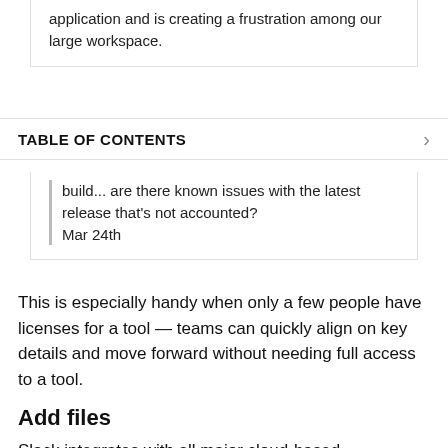application and is creating a frustration among our large workspace.
TABLE OF CONTENTS
build... are there known issues with the latest release that’s not accounted?
Mar 24th
This is especially handy when only a few people have licenses for a tool — teams can quickly align on key details and move forward without needing full access to a tool.
Add files
Slack integrates with all major cloud-based